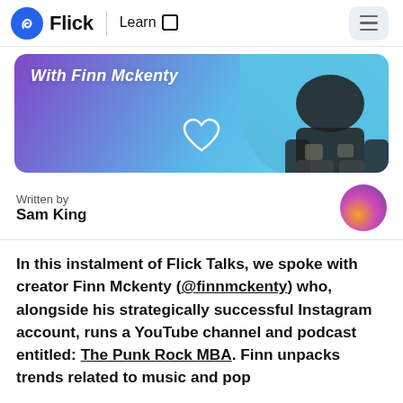Flick | Learn
[Figure (illustration): Banner image with purple-to-blue gradient background, italic text 'With Finn Mckenty', a heart outline icon, and a person with tattoos on the right side.]
Written by
Sam King
In this instalment of Flick Talks, we spoke with creator Finn Mckenty (@finnmckenty) who, alongside his strategically successful Instagram account, runs a YouTube channel and podcast entitled: The Punk Rock MBA. Finn unpacks trends related to music and pop